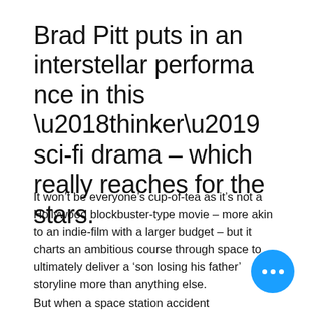Brad Pitt puts in an interstellar performance in this ‘thinker’ sci-fi drama – which really reaches for the stars.
It won’t be everyone’s cup-of-tea as it’s not a Hollywood blockbuster-type movie – more akin to an indie-film with a larger budget – but it charts an ambitious course through space to ultimately deliver a ‘son losing his father’ storyline more than anything else.
But when a space station accident